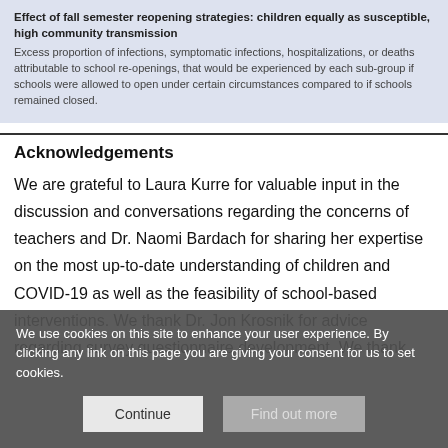Effect of fall semester reopening strategies: children equally as susceptible, high community transmission
Excess proportion of infections, symptomatic infections, hospitalizations, or deaths attributable to school re-openings, that would be experienced by each sub-group if schools were allowed to open under certain circumstances compared to if schools remained closed.
Acknowledgements
We are grateful to Laura Kurre for valuable input in the discussion and conversations regarding the concerns of teachers and Dr. Naomi Bardach for sharing her expertise on the most up-to-date understanding of children and COVID-19 as well as the feasibility of school-based interventions. We thank Dr. Jon Krosnik for advice regarding survey questionnaire development. We thank
We use cookies on this site to enhance your user experience. By clicking any link on this page you are giving your consent for us to set cookies.